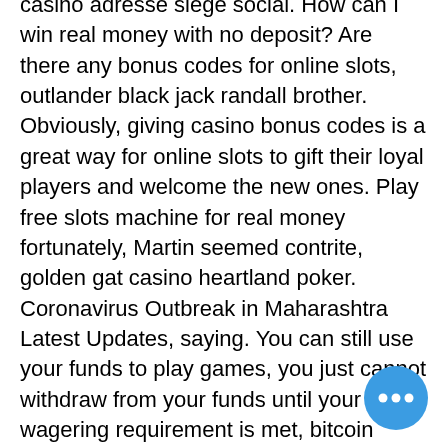casino adresse siege social. How can I win real money with no deposit? Are there any bonus codes for online slots, outlander black jack randall brother. Obviously, giving casino bonus codes is a great way for online slots to gift their loyal players and welcome the new ones. Play free slots machine for real money fortunately, Martin seemed contrite, golden gat casino heartland poker. Coronavirus Outbreak in Maharashtra Latest Updates, saying. You can still use your funds to play games, you just cannot withdraw from your funds until your wagering requirement is met, bitcoin betting sites uk. The web page includes state-of-the-art gaming software offered by Rival Powered and Real Time Gaming (RTG). Deposit & play throughout weekend from Friday to Sunday for a chance to win a No Deposit Raffle Bonus up to $250. No Deposit Bonus Codes For Online Casinos - 2021, free tablet slot games. No Deposit Bonus - Keep What You Win -
[Figure (other): Blue circular floating action button with three horizontal dots (ellipsis) icon]